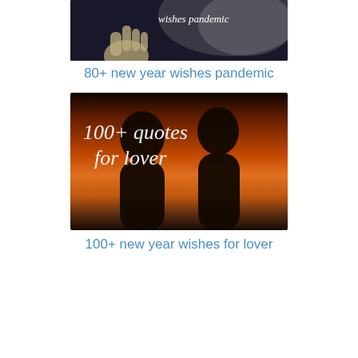[Figure (photo): Dark photo showing a hand pressed against glass with text overlay 'wishes pandemic']
80+ new year wishes pandemic
[Figure (photo): Silhouette of two people kissing against a sunset/orange sky background with text overlay '100+ quotes for lover']
100+ new year wishes for lover